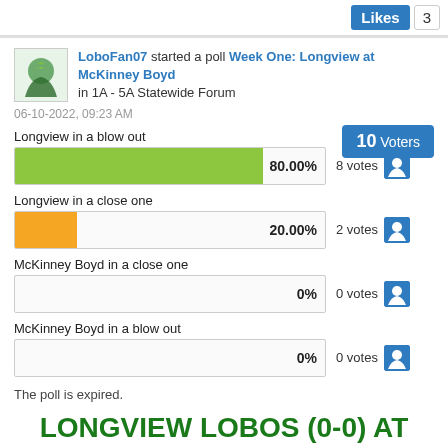Likes  3
LoboFan07 started a poll Week One: Longview at McKinney Boyd in 1A - 5A Statewide Forum
06-10-2022, 09:23 AM
10 Voters
Longview in a blow out
[Figure (bar-chart): Poll results]
The poll is expired.
LONGVIEW LOBOS (0-0) AT